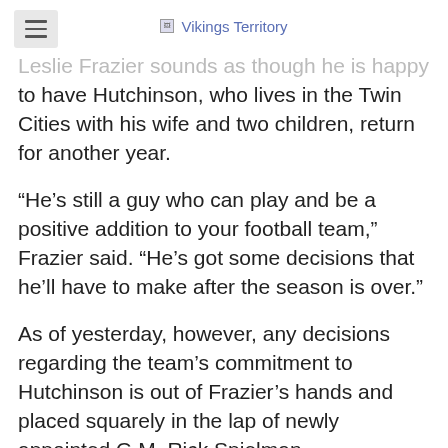Vikings Territory
Leslie Frazier sounds as though he is happy to have Hutchinson, who lives in the Twin Cities with his wife and two children, return for another year.
“He’s still a guy who can play and be a positive addition to your football team,” Frazier said. “He’s got some decisions that he'll have to make after the season is over.”
As of yesterday, however, any decisions regarding the team’s commitment to Hutchinson is out of Frazier’s hands and placed squarely in the lap of newly appointed G.M. Rick Spielman.